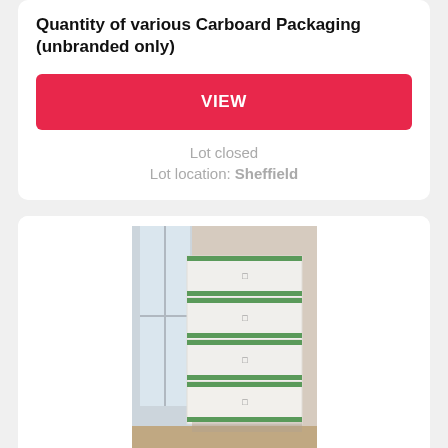Quantity of various Carboard Packaging (unbranded only)
VIEW
Lot closed
Lot location: Sheffield
[Figure (photo): Stack of white cardboard boxes with green branding, piled vertically against a wall near a window]
Lot 35
5 x 5kg Charles Faram & CO Ltd Freshpak Whole Leaf Hops, various variety, crop years